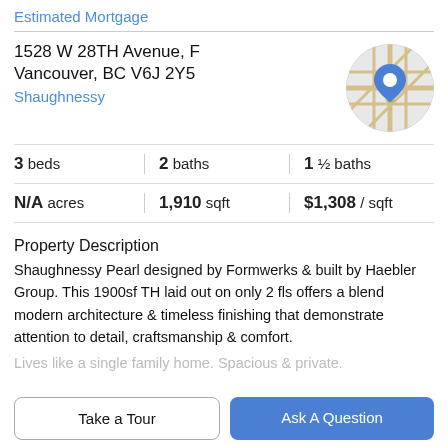Estimated Mortgage
1528 W 28TH Avenue, F
Vancouver, BC V6J 2Y5
Shaughnessy
[Figure (map): Circular map thumbnail showing street map with a blue location pin marker in the center.]
| 3 beds | 2 baths | 1 ½ baths |
| N/A acres | 1,910 sqft | $1,308 / sqft |
Property Description
Shaughnessy Pearl designed by Formwerks & built by Haebler Group. This 1900sf TH laid out on only 2 fls offers a blend modern architecture & timeless finishing that demonstrate attention to detail, craftsmanship & comfort.
Lives like a single family home. Spacious & private.
Take a Tour
Ask A Question